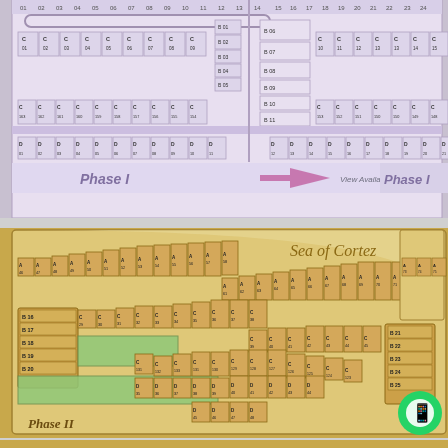[Figure (map): Phase I land subdivision map showing lots labeled C 01 through C 09, C 153-154, B 01-B 11, D 01-D 21, with pink/lavender color scheme and arrow pointing right labeled 'View Available Properties']
[Figure (map): Phase II land subdivision map showing lots labeled A, B, C, D series near Sea of Cortez, with sandy/tan color scheme and green highlighted lots]